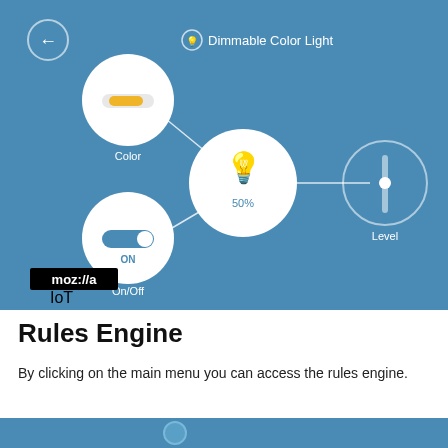[Figure (screenshot): Mozilla IoT app screenshot showing a Dimmable Color Light control panel with a back arrow, a light bulb icon showing 50%, connected nodes for Color (with a color slider icon), On/Off toggle (showing ON), and Level (with a vertical slider icon). Mozilla IoT logo in bottom left corner. Blue background.]
Rules Engine
By clicking on the main menu you can access the rules engine.
[Figure (screenshot): Partial blue screenshot strip at the bottom of the page]